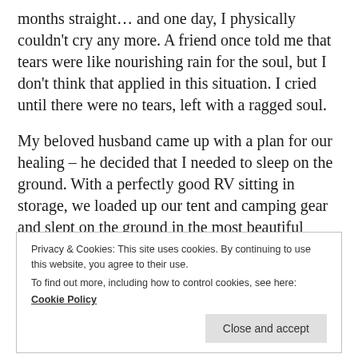months straight… and one day, I physically couldn't cry any more. A friend once told me that tears were like nourishing rain for the soul, but I don't think that applied in this situation. I cried until there were no tears, left with a ragged soul.
My beloved husband came up with a plan for our healing – he decided that I needed to sleep on the ground. With a perfectly good RV sitting in storage, we loaded up our tent and camping gear and slept on the ground in the most beautiful places we could get to in a long weekend.
Privacy & Cookies: This site uses cookies. By continuing to use this website, you agree to their use.
To find out more, including how to control cookies, see here:
Cookie Policy
Close and accept
We camped at the Gila Hot Springs in New Mexico. I